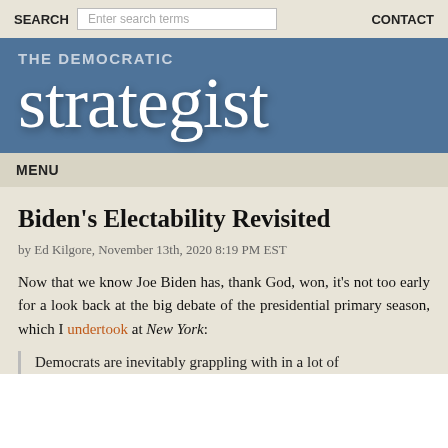SEARCH   [Enter search terms]   CONTACT
THE DEMOCRATIC strategist
MENU
Biden's Electability Revisited
by Ed Kilgore, November 13th, 2020 8:19 PM EST
Now that we know Joe Biden has, thank God, won, it's not too early for a look back at the big debate of the presidential primary season, which I undertook at New York:
Democrats are inevitably grappling with in a lot of